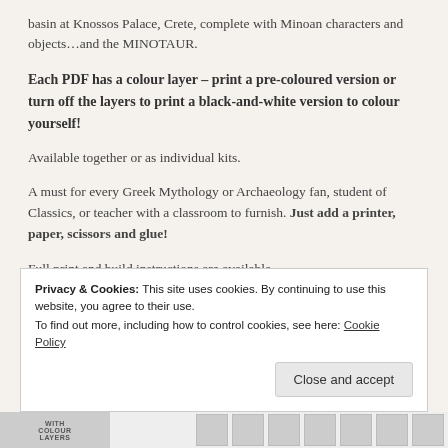basin at Knossos Palace, Crete, complete with Minoan characters and objects...and the MINOTAUR.
Each PDF has a colour layer – print a pre-coloured version or turn off the layers to print a black-and-white version to colour yourself!
Available together or as individual kits.
A must for every Greek Mythology or Archaeology fan, student of Classics, or teacher with a classroom to furnish. Just add a printer, paper, scissors and glue!
Full print and build instructions are available
Privacy & Cookies: This site uses cookies. By continuing to use this website, you agree to their use. To find out more, including how to control cookies, see here: Cookie Policy
Close and accept